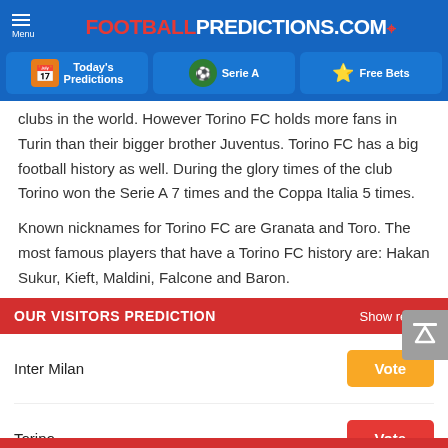FOOTBALLPREDICTIONS.COM
[Figure (screenshot): Navigation tabs: Today's Predictions, Serie A, Free Bets]
clubs in the world. However Torino FC holds more fans in Turin than their bigger brother Juventus. Torino FC has a big football history as well. During the glory times of the club Torino won the Serie A 7 times and the Coppa Italia 5 times.
Known nicknames for Torino FC are Granata and Toro. The most famous players that have a Torino FC history are: Hakan Sukur, Kieft, Maldini, Falcone and Baron.
OUR VISITORS PREDICTION
Inter Milan — Vote
Torino — Vote
Draw — Vote